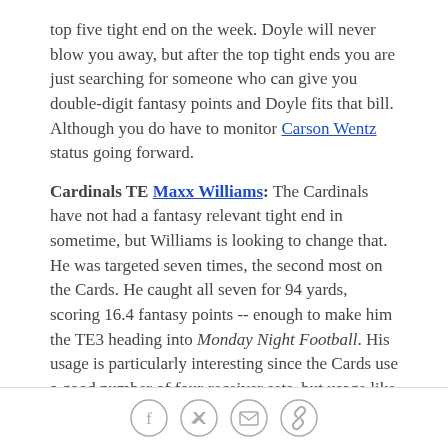top five tight end on the week. Doyle will never blow you away, but after the top tight ends you are just searching for someone who can give you double-digit fantasy points and Doyle fits that bill. Although you do have to monitor Carson Wentz status going forward.
Cardinals TE Maxx Williams: The Cardinals have not had a fantasy relevant tight end in sometime, but Williams is looking to change that. He was targeted seven times, the second most on the Cards. He caught all seven for 94 yards, scoring 16.4 fantasy points -- enough to make him the TE3 heading into Monday Night Football. His usage is particularly interesting since the Cards use a good number of four-receiver sets, but usage like this from a tight end cannot be ignored. There is a chance that Williams is thrown back
[social share icons: Facebook, Twitter, Email, Link]